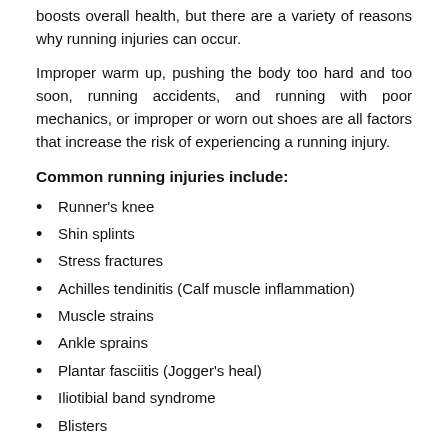boosts overall health, but there are a variety of reasons why running injuries can occur.
Improper warm up, pushing the body too hard and too soon, running accidents, and running with poor mechanics, or improper or worn out shoes are all factors that increase the risk of experiencing a running injury.
Common running injuries include:
Runner's knee
Shin splints
Stress fractures
Achilles tendinitis (Calf muscle inflammation)
Muscle strains
Ankle sprains
Plantar fasciitis (Jogger's heal)
Iliotibial band syndrome
Blisters